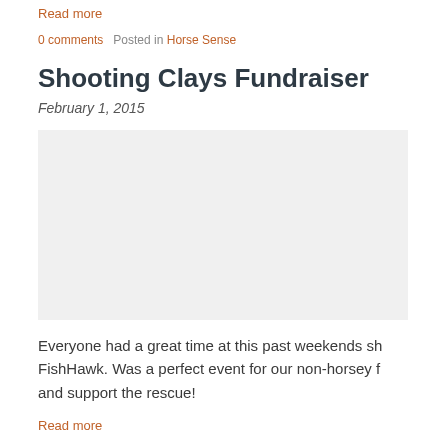Read more
0 comments   Posted in Horse Sense
Shooting Clays Fundraiser
February 1, 2015
Everyone had a great time at this past weekends sh... FishHawk.  Was a perfect event for our non-horsey f... and support the rescue!
Read more
0 comments   Posted in Horse Sense
Rescue Updates for November